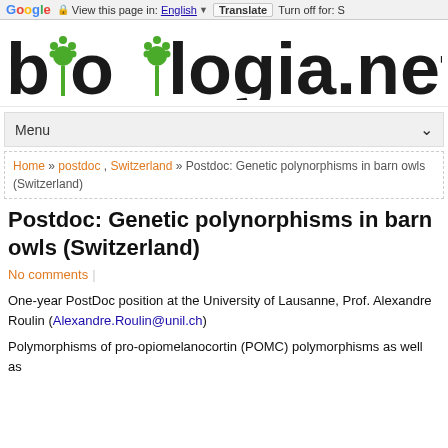Google  View this page in: English [▼]  Translate  Turn off for: S
[Figure (logo): bioblogia.net website logo with green plant/leaf icons replacing the letters 'b' in bioblogia]
Menu
Home » postdoc , Switzerland » Postdoc: Genetic polynorphisms in barn owls (Switzerland)
Postdoc: Genetic polynorphisms in barn owls (Switzerland)
No comments
One-year PostDoc position at the University of Lausanne, Prof. Alexandre Roulin (Alexandre.Roulin@unil.ch)
Polymorphisms of pro-opiomelanocortin (POMC) polymorphisms as well as